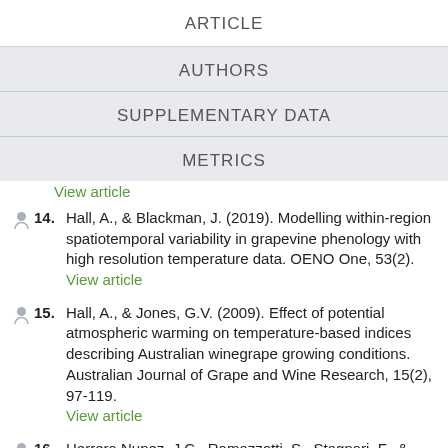ARTICLE
AUTHORS
SUPPLEMENTARY DATA
METRICS
View article
14. Hall, A., & Blackman, J. (2019). Modelling within-region spatiotemporal variability in grapevine phenology with high resolution temperature data. OENO One, 53(2). View article
15. Hall, A., & Jones, G.V. (2009). Effect of potential atmospheric warming on temperature-based indices describing Australian winegrape growing conditions. Australian Journal of Grape and Wine Research, 15(2), 97-119. View article
16. Herrera Nunez, J.C., Ramazzotti, S., Stagnari, F., & Pisante, M. (2011). A Multivariate Clustering Approach for Characterization of the Montepulciano d'Abruzzo Colline...